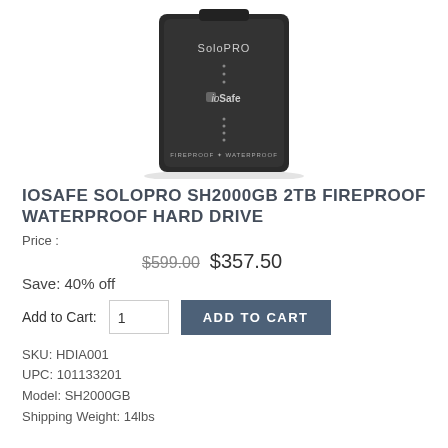[Figure (photo): IoSafe SoloPRO external hard drive device, black color, with SoloPRO and ioSafe branding, labeled FIREPROOF + WATERPROOF]
IOSAFE SOLOPRO SH2000GB 2TB FIREPROOF WATERPROOF HARD DRIVE
Price : $599.00  $357.50
Save: 40% off
Add to Cart: 1  ADD TO CART
SKU: HDIA001
UPC: 101133201
Model: SH2000GB
Shipping Weight: 14lbs